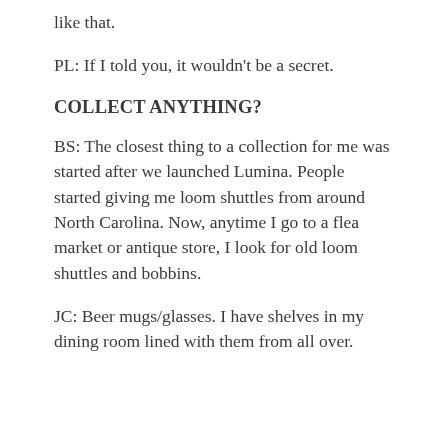like that.
PL: If I told you, it wouldn't be a secret.
COLLECT ANYTHING?
BS: The closest thing to a collection for me was started after we launched Lumina. People started giving me loom shuttles from around North Carolina. Now, anytime I go to a flea market or antique store, I look for old loom shuttles and bobbins.
JC: Beer mugs/glasses. I have shelves in my dining room lined with them from all over.